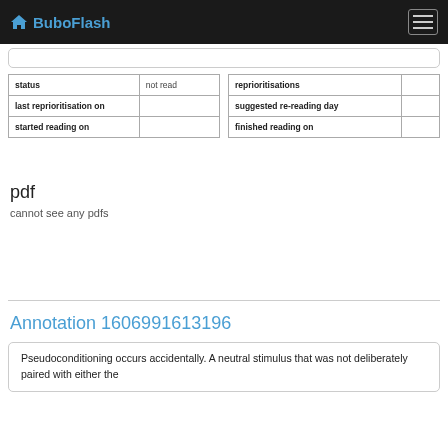BuboFlash
| status | not read |
| last reprioritisation on |  |
| started reading on |  |
| reprioritisations |  |
| suggested re-reading day |  |
| finished reading on |  |
pdf
cannot see any pdfs
Annotation 1606991613196
Pseudoconditioning occurs accidentally. A neutral stimulus that was not deliberately paired with either the